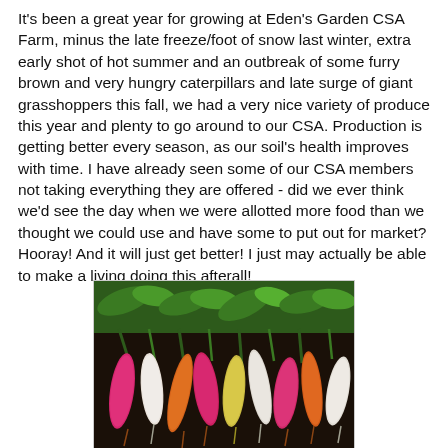It's been a great year for growing at Eden's Garden CSA Farm, minus the late freeze/foot of snow last winter, extra early shot of hot summer and an outbreak of some furry brown and very hungry caterpillars and late surge of giant grasshoppers this fall, we had a very nice variety of produce this year and plenty to go around to our CSA. Production is getting better every season, as our soil's health improves with time. I have already seen some of our CSA members not taking everything they are offered - did we ever think we'd see the day when we were allotted more food than we thought we could use and have some to put out for market? Hooray! And it will just get better! I just may actually be able to make a living doing this afterall!
[Figure (photo): A photo of colorful radishes and carrots in various colors (pink, white, yellow, orange) with green leafy tops, laid out together.]